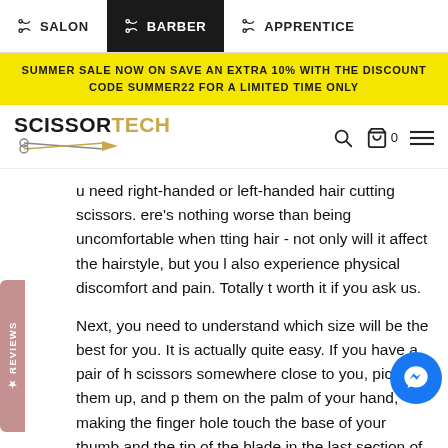SALON  BARBER  APPRENTICE
SUMMER SALE NOW ON SAVE AN EXTRA 10% WITH THE DISCOUNT CODE SUMMER22 FOR A LIMITED TIME ONLY
[Figure (logo): SCISSORTECH logo with scissors illustration]
u need right-handed or left-handed hair cutting scissors. ere's nothing worse than being uncomfortable when tting hair - not only will it affect the hairstyle, but you l also experience physical discomfort and pain. Totally t worth it if you ask us.
Next, you need to understand which size will be the best for you. It is actually quite easy. If you have a pair of h scissors somewhere close to you, pick them up, and p them on the palm of your hand, making the finger hole touch the base of your thumb and the tip of the blade in the last section of your middle finger. Next, take a ruler and measure the shears, not including the finger rest. There you go!